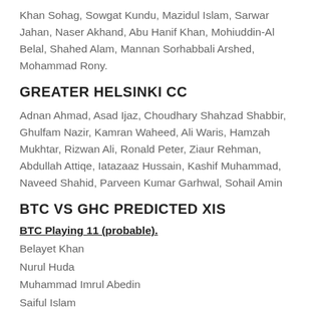Khan Sohag, Sowgat Kundu, Mazidul Islam, Sarwar Jahan, Naser Akhand, Abu Hanif Khan, Mohiuddin-Al Belal, Shahed Alam, Mannan Sorhabbali Arshed, Mohammad Rony.
GREATER HELSINKI CC
Adnan Ahmad, Asad Ijaz, Choudhary Shahzad Shabbir, Ghulfam Nazir, Kamran Waheed, Ali Waris, Hamzah Mukhtar, Rizwan Ali, Ronald Peter, Ziaur Rehman, Abdullah Attiqe, Iatazaaz Hussain, Kashif Muhammad, Naveed Shahid, Parveen Kumar Garhwal, Sohail Amin
BTC VS GHC PREDICTED XIS
BTC Playing 11 (probable).
Belayet Khan
Nurul Huda
Muhammad Imrul Abedin
Saiful Islam
Mehran Amin